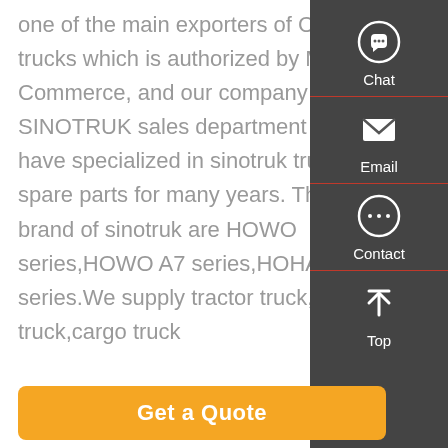one of the main exporters of Chinese trucks which is authorized by Ministry of Commerce, and our company belong to SINOTRUK sales department and we have specialized in sinotruk trucks and spare parts for many years. The famous brand of sinotruk are HOWO series,HOWO A7 series,HOHAN series.We supply tractor truck,dump truck,cargo truck
[Figure (infographic): Vertical sidebar with dark background showing Chat, Email, Contact, and Top navigation icons with labels]
Get a Quote